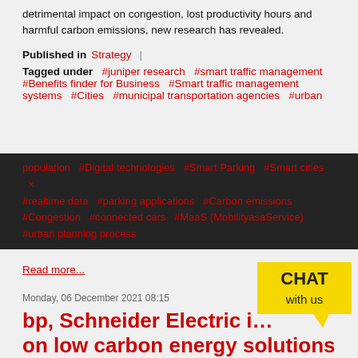detrimental impact on congestion, lost productivity hours and harmful carbon emissions, new research has revealed.
Published in Strategy
Tagged under #juniper research #smart traffic management #Benefits finder for Business #Smart traffic management systems #Cities #municipal transportation agencies #urban population #Digital technologies #Smart Parking #Smart cities #realtime data #parking applications #Carbon emissions #Congestion #connected cars #MaaS (MobilityasaService) #urban planning process
Read more...
Monday, 06 December 2021 08:15
bp, Schneider Electric i... on low carbon energy solutions